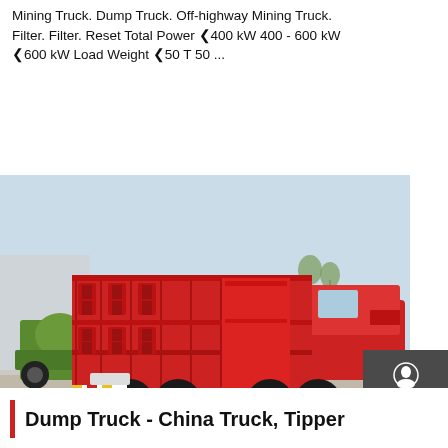Mining Truck. Dump Truck. Off-highway Mining Truck. Filter. Filter. Reset Total Power ❮400 kW 400 - 600 kW ❮600 kW Load Weight ❮50 T 50 ...
Get a Quote
[Figure (photo): A red dump truck / tipper truck photographed from the rear-left angle in an industrial yard. The truck has a large red metal dump bed with reinforcing ridges and cutouts. Other vehicles including a green concrete mixer truck are visible in the background.]
Chat
Email
Contact
Top
Dump Truck - China Truck, Tipper